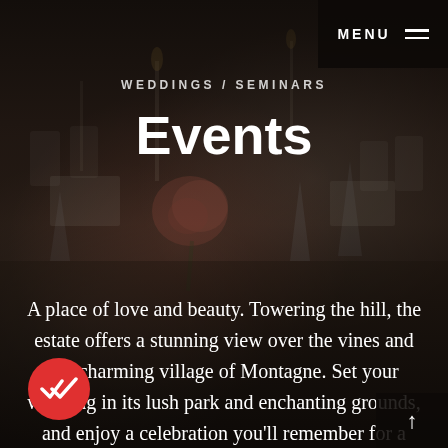[Figure (photo): Background photo of an elegant wedding reception table setting with roses, candles, and crystal glassware in a dimly lit venue]
MENU
WEDDINGS / SEMINARS
Events
A place of love and beauty. Towering the hill, the estate offers a stunning view over the vines and the charming village of Montagne. Set your wedding in its lush park and enchanting grounds, and enjoy a celebration you'll remember for a